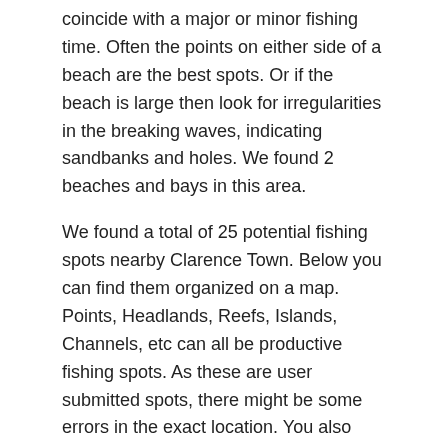coincide with a major or minor fishing time. Often the points on either side of a beach are the best spots. Or if the beach is large then look for irregularities in the breaking waves, indicating sandbanks and holes. We found 2 beaches and bays in this area.
We found a total of 25 potential fishing spots nearby Clarence Town. Below you can find them organized on a map. Points, Headlands, Reefs, Islands, Channels, etc can all be productive fishing spots. As these are user submitted spots, there might be some errors in the exact location. You also need to cross check local fishing regulations. Some of the spots might be in or around marine reserves or other locations that cannot be fished. If you click on a location marker it will bring up some details and a quick link to google search, satellite maps and fishing times. Tip: Click/Tap on a new area to load more fishing spots.
Bays and Beaches
Harbours and Marinas